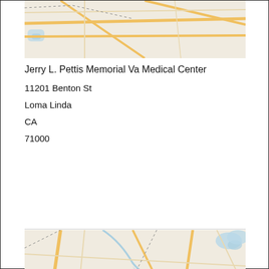[Figure (map): Street map showing road network around Loma Linda area, top portion with light background, yellow roads, dashed boundary lines, and blue water features]
Jerry L. Pettis Memorial Va Medical Center
11201 Benton St
Loma Linda
CA
71000
[Figure (map): Street map showing road network around Loma Linda area, larger view with light background, yellow roads, dashed boundary lines, green terrain, and blue water features]